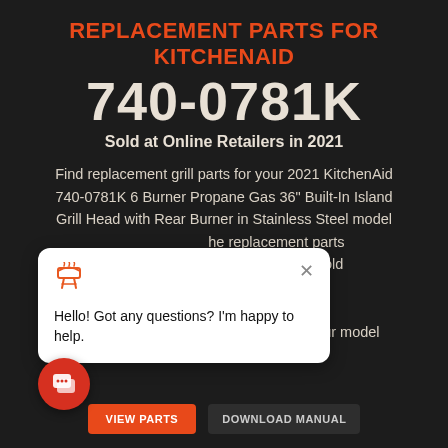REPLACEMENT PARTS FOR KITCHENAID 740-0781K
Sold at Online Retailers in 2021
Find replacement grill parts for your 2021 KitchenAid 740-0781K 6 Burner Propane Gas 36" Built-In Island Grill Head with Rear Burner in Stainless Steel model. Use the replacement parts for the 740-0781K grill was sold. If this is not your grill KitchenAid Replacement Parts or use the button below to search for your model number.
[Figure (screenshot): Chat popup widget with grill icon, close button, and message: Hello! Got any questions? I'm happy to help.]
[Figure (infographic): Red circular chat button with speech bubble icon in bottom left]
VIEW PARTS   DOWNLOAD MANUAL